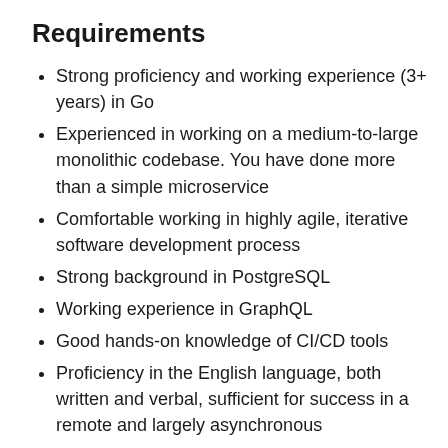Requirements
Strong proficiency and working experience (3+ years) in Go
Experienced in working on a medium-to-large monolithic codebase. You have done more than a simple microservice
Comfortable working in highly agile, iterative software development process
Strong background in PostgreSQL
Working experience in GraphQL
Good hands-on knowledge of CI/CD tools
Proficiency in the English language, both written and verbal, sufficient for success in a remote and largely asynchronous